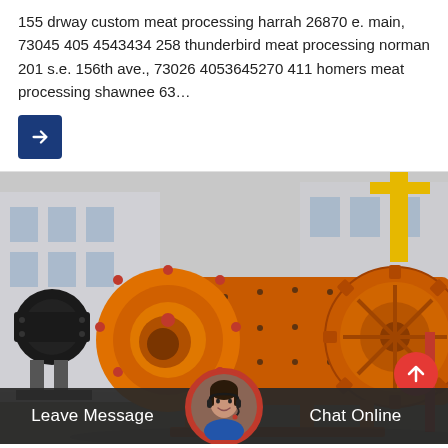155 drway custom meat processing harrah 26870 e. main, 73045 405 4543434 258 thunderbird meat processing norman 201 s.e. 156th ave., 73026 4053645270 411 homers meat processing shawnee 63…
[Figure (photo): Industrial orange ball mill machine photographed outdoors at a factory yard, with a large gear wheel visible on the right side and additional machinery in the background.]
Leave Message
Chat Online